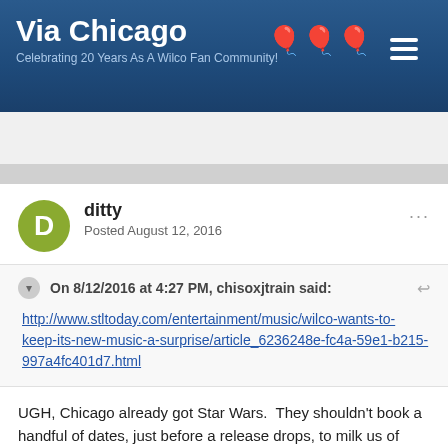Via Chicago — Celebrating 20 Years As A Wilco Fan Community!
Just A Fan
ditty
Posted August 12, 2016
On 8/12/2016 at 4:27 PM, chisoxjtrain said:
http://www.stltoday.com/entertainment/music/wilco-wants-to-keep-its-new-music-a-surprise/article_6236248e-fc4a-59e1-b215-997a4fc401d7.html
UGH, Chicago already got Star Wars.  They shouldn't book a handful of dates, just before a release drops, to milk us of more Star Wars touring money.  I bought tickets to the Chicago show based on "very special guests".  As fine as Twin Limb is, they don't